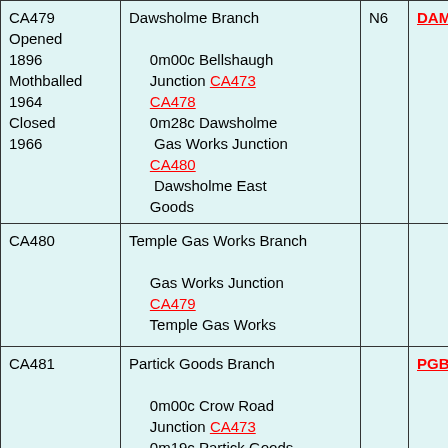| ID/Status | Branch/Stations | Ref1 | Ref2 |
| --- | --- | --- | --- |
| CA479
Opened 1896
Mothballed 1964
Closed 1966 | Dawsholme Branch
0m00c Bellshaugh Junction CA473 CA478
0m28c Dawsholme Gas Works Junction CA480
Dawsholme East Goods | N6 | DAM |
| CA480 | Temple Gas Works Branch
Gas Works Junction CA479
Temple Gas Works |  |  |
| CA481 | Partick Goods Branch
0m00c Crow Road Junction CA473
0m19c Partick Goods |  | PGB |
| CA482
Opened 1896
Closed 1965 | Partick Loop
0m00c Partick North Junction CA473
0m16c Partick East | Y46 | PAP |